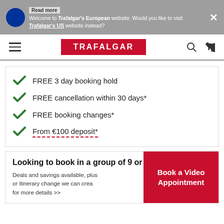Read more | Welcome to Trafalgar's European website. Would you like to visit Trafalgar's US website instead? ×
[Figure (logo): Trafalgar red logo on navigation bar with hamburger menu, search icon and phone icon]
FREE 3 day booking hold
FREE cancellation within 30 days*
FREE booking changes*
From €100 deposit*
Looking to book in a group of 9 or more?
Deals and savings available, plus or itinerary change we can crea for more details >>
Book a Video Appointment